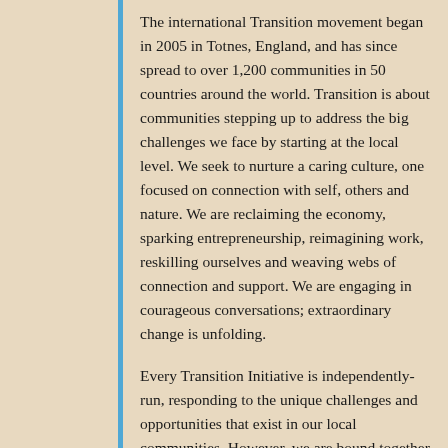The international Transition movement began in 2005 in Totnes, England, and has since spread to over 1,200 communities in 50 countries around the world. Transition is about communities stepping up to address the big challenges we face by starting at the local level. We seek to nurture a caring culture, one focused on connection with self, others and nature. We are reclaiming the economy, sparking entrepreneurship, reimagining work, reskilling ourselves and weaving webs of connection and support. We are engaging in courageous conversations; extraordinary change is unfolding.
Every Transition Initiative is independently-run, responding to the unique challenges and opportunities that exist in our local communities. However, we are bound together by a similar outlook, a common set of principles, and a five-stage model for scaling-up our impacts over time.